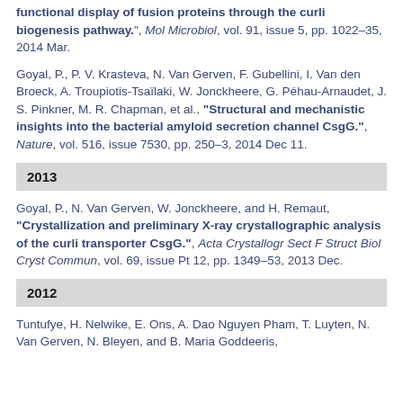functional display of fusion proteins through the curli biogenesis pathway.", Mol Microbiol, vol. 91, issue 5, pp. 1022-35, 2014 Mar.
Goyal, P., P. V. Krasteva, N. Van Gerven, F. Gubellini, I. Van den Broeck, A. Troupiotis-Tsaïlaki, W. Jonckheere, G. Péhau-Arnaudet, J. S. Pinkner, M. R. Chapman, et al., "Structural and mechanistic insights into the bacterial amyloid secretion channel CsgG.", Nature, vol. 516, issue 7530, pp. 250-3, 2014 Dec 11.
2013
Goyal, P., N. Van Gerven, W. Jonckheere, and H. Remaut, "Crystallization and preliminary X-ray crystallographic analysis of the curli transporter CsgG.", Acta Crystallogr Sect F Struct Biol Cryst Commun, vol. 69, issue Pt 12, pp. 1349-53, 2013 Dec.
2012
Tuntufye, H. Nelwike, E. Ons, A. Dao Nguyen Pham, T. Luyten, N. Van Gerven, N. Bleyen, and B. Maria Goddeeris,